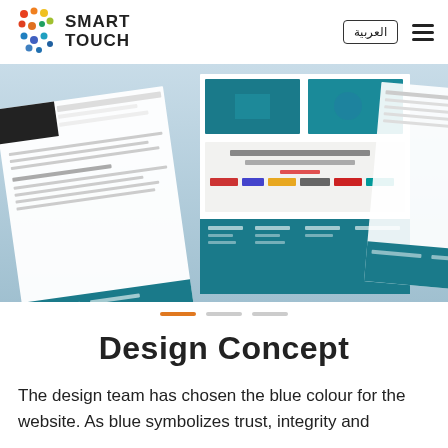Smart Touch | العربية
[Figure (screenshot): Screenshot of a website design showing teal/blue colored web pages with partner logos including Avaya, HP, Bahwan, Microsoft, Oracle, Siemens]
[Figure (infographic): Slider pagination dots: one orange active dot and two grey inactive dots]
Design Concept
The design team has chosen the blue colour for the website. As blue symbolizes trust, integrity and